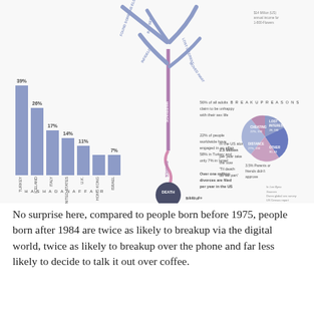[Figure (infographic): Infographic about relationships, marriage, divorce, and breakups. Left side shows a bar chart 'Has Had an Affair' with countries: Turkey 39%, Iceland 26%, Italy 17%, United States 14%, U.K. 11%, Hong Kong 7%, Israel 7%. Middle section shows a tree/flow diagram with branches labeled: Found Someone Else, Bad Sex, Infidelity, Lost Interest, Moved Away — leading to Marriage then Divorce then Death. Text notes: 56% of all adults claim to be unhappy with their sex life; 22% of people worldwide have engaged in an affair, 58% in Turkey and only 7% in Israel; Over one million divorces are filed per year in the US; In the US alone, 2.5 Million per year take the vow 'Til death do we part'; 5.4% of adults die having never married. Right side shows a pie chart 'Breakup Reasons' with: Cheating (approx 22%), Lost Interest (approx 28%), Other (approx 30%), Distance (approx 17%); plus note: 3.5% Parents or friends didn't approve. Bottom right credits listed.]
No surprise here, compared to people born before 1975, people born after 1984 are twice as likely to breakup via the digital world, twice as likely to breakup over the phone and far less likely to decide to talk it out over coffee.